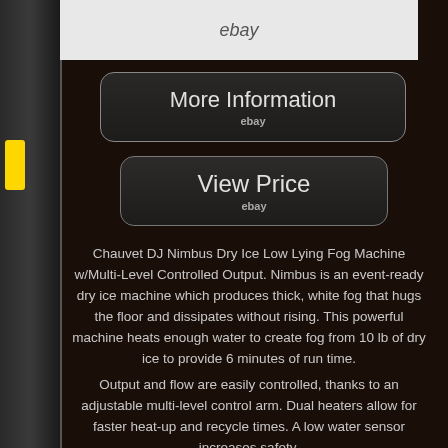[Figure (screenshot): Top portion of eBay product listing page showing 'ebay' logo on light gray background, cropped product image area]
[Figure (screenshot): More Information button with ebay label, dark rounded rectangle button]
[Figure (screenshot): View Price button with ebay label, dark rounded rectangle button]
Chauvet DJ Nimbus Dry Ice Low Lying Fog Machine w/Multi-Level Controlled Output. Nimbus is an event-ready dry ice machine which produces thick, white fog that hugs the floor and dissipates without rising. This powerful machine heats enough water to create fog from 10 lb of dry ice to provide 6 minutes of run time.
Output and flow are easily controlled, thanks to an adjustable multi-level control arm. Dual heaters allow for faster heat-up and recycle times. A low water sensor increases safety.